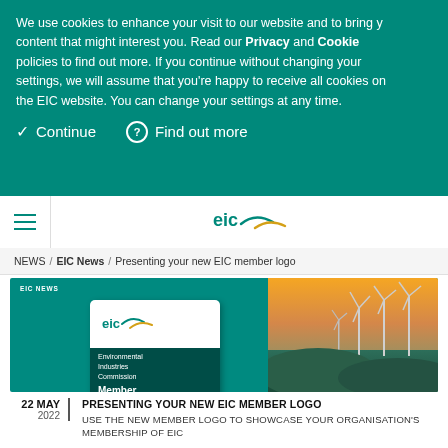We use cookies to enhance your visit to our website and to bring you content that might interest you. Read our Privacy and Cookie policies to find out more. If you continue without changing your settings, we will assume that you're happy to receive all cookies on the EIC website. You can change your settings at any time.
✓ Continue
? Find out more
[Figure (logo): EIC logo with teal and yellow swoosh]
NEWS / EIC News / Presenting your new EIC member logo
[Figure (photo): EIC member logo promotional image showing EIC member badge over wind turbine landscape background with EIC NEWS label]
22 MAY 2022  PRESENTING YOUR NEW EIC MEMBER LOGO  USE THE NEW MEMBER LOGO TO SHOWCASE YOUR ORGANISATION'S MEMBERSHIP OF EIC